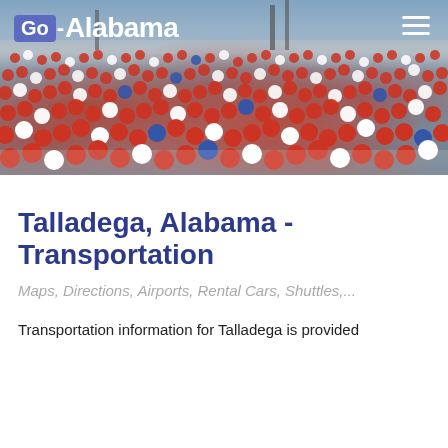Go-Alabama
[Figure (photo): Large crowd of spectators in stadium stands, predominantly wearing red and white clothing, viewed from the field level looking up into the bleachers.]
Talladega, Alabama - Transportation
Maps, Directions, Airports, Rental Cars, Shuttles,...
Transportation information for Talladega is provided